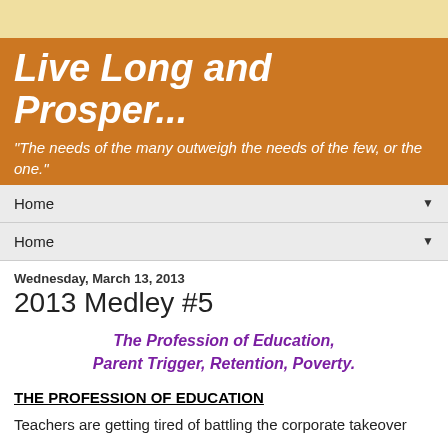Live Long and Prosper...
"The needs of the many outweigh the needs of the few, or the one."
Home
Home
Wednesday, March 13, 2013
2013 Medley #5
The Profession of Education, Parent Trigger, Retention, Poverty.
THE PROFESSION OF EDUCATION
Teachers are getting tired of battling the corporate takeover